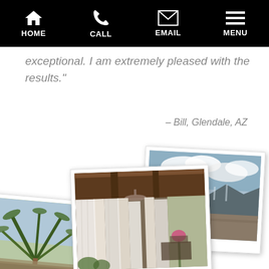HOME | CALL | EMAIL | MENU
exceptional. I am extremely pleased with the results."
– Bill, Glendale, AZ
[Figure (photo): Polaroid-style photo collage showing three overlapping photographs: a mountain/desert landscape view, a covered patio with white curtains and outdoor furniture, and a partial outdoor scene with palm trees.]